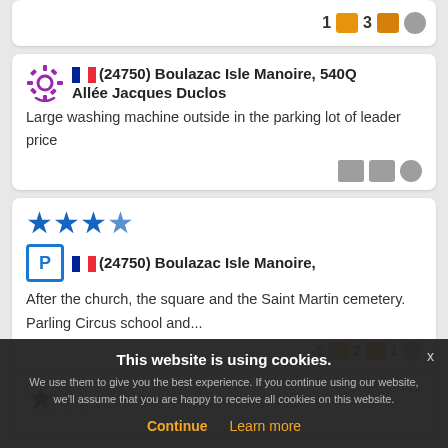[Figure (screenshot): Top partial card showing icon row with '1', orange square, '3', orange square, grey circle icons]
(24750) Boulazac Isle Manoire, 540Q Allée Jacques Duclos
Large washing machine outside in the parking lot of leader price
★★★★ (24750) Boulazac Isle Manoire,
After the church, the square and the Saint Martin cemetery. Parling Circus school and...
This website is using cookies. We use them to give you the best experience. If you continue using our website, we'll assume that you are happy to receive all cookies on this website.
(24750) Trélissac, 15 Rue des Platanes